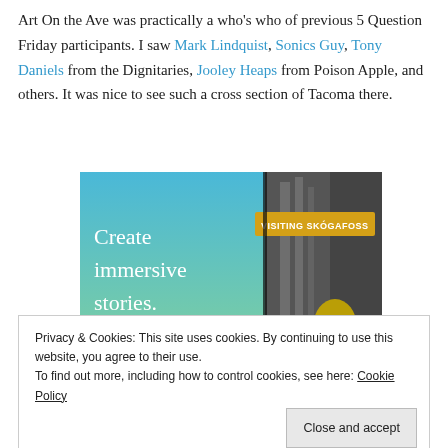Art On the Ave was practically a who's who of previous 5 Question Friday participants. I saw Mark Lindquist, Sonics Guy, Tony Daniels from the Dignitaries, Jooley Heaps from Poison Apple, and others. It was nice to see such a cross section of Tacoma there.
[Figure (screenshot): Advertisement image showing 'Create immersive stories.' text on blue background with a photo of a person near a waterfall, labeled 'VISITING SKOGAFOSS']
Privacy & Cookies: This site uses cookies. By continuing to use this website, you agree to their use.
To find out more, including how to control cookies, see here: Cookie Policy
Close and accept
Advertisements